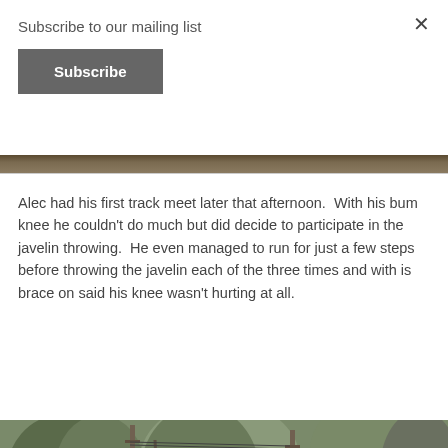Subscribe to our mailing list
Subscribe
[Figure (photo): Thin strip of an outdoor photo at the top, showing trees and natural background]
Alec had his first track meet later that afternoon.  With his bum knee he couldn't do much but did decide to participate in the javelin throwing.  He even managed to run for just a few steps before throwing the javelin each of the three times and with is brace on said his knee wasn't hurting at all.
[Figure (photo): Outdoor sports photo showing two people in blue athletic uniforms at what appears to be a track meet, with utility poles, chain-link fence, and bare trees visible in the background]